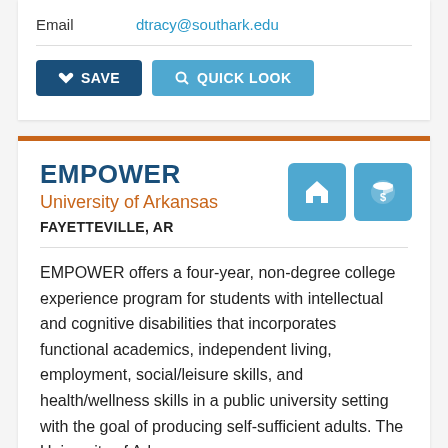Email    dtracy@southark.edu
[Figure (other): SAVE button (dark blue with heart icon) and QUICK LOOK button (light blue with search icon)]
EMPOWER
University of Arkansas
FAYETTEVILLE, AR
EMPOWER offers a four-year, non-degree college experience program for students with intellectual and cognitive disabilities that incorporates functional academics, independent living, employment, social/leisure skills, and health/wellness skills in a public university setting with the goal of producing self-sufficient adults. The University of Arkansas...